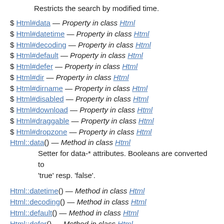Restricts the search by modified time.
$ Html#data — Property in class Html
$ Html#datetime — Property in class Html
$ Html#decoding — Property in class Html
$ Html#default — Property in class Html
$ Html#defer — Property in class Html
$ Html#dir — Property in class Html
$ Html#dirname — Property in class Html
$ Html#disabled — Property in class Html
$ Html#download — Property in class Html
$ Html#draggable — Property in class Html
$ Html#dropzone — Property in class Html
Html::data() — Method in class Html
Setter for data-* attributes. Booleans are converted to 'true' resp. 'false'.
Html::datetime() — Method in class Html
Html::decoding() — Method in class Html
Html::default() — Method in class Html
Html::defer() — Method in class Html
Html::dir() — Method in class Html
Html::dirname() — Method in class Html
Html::disabled() — Method in class Html